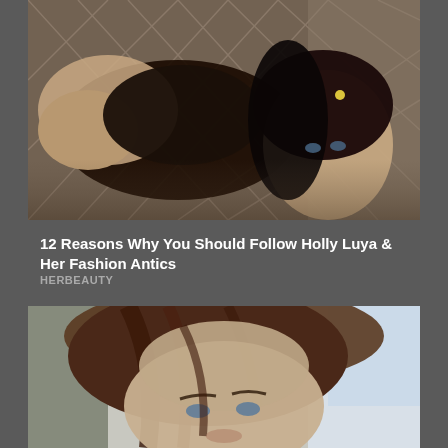[Figure (photo): Woman in black swimsuit lying in a hammock net, looking at camera with dark hair]
12 Reasons Why You Should Follow Holly Luya & Her Fashion Antics
HERBEAUTY
[Figure (photo): Close-up portrait of a young woman with brown hair and blue eyes, selfie style]